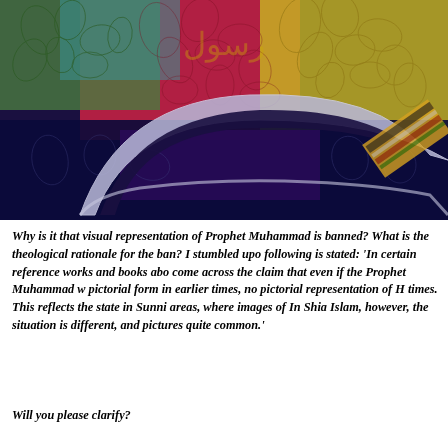[Figure (illustration): Colorful Islamic decorative art with floral patterns in red, green, yellow, and blue, featuring a large crescent moon shape in the lower portion, with intricate arabesque designs throughout.]
Why is it that visual representation of Prophet Muhammad is banned? What is the theological rationale for the ban? I stumbled upon a site where the following is stated: 'In certain reference works and books about Islam, one can come across the claim that even if the Prophet Muhammad was depicted in pictorial form in earlier times, no pictorial representation of Him exists in modern times. This reflects the state in Sunni areas, where images of Him are rare. In Shia Islam, however, the situation is different, and pictures of Him are quite common.'
Will you please clarify?